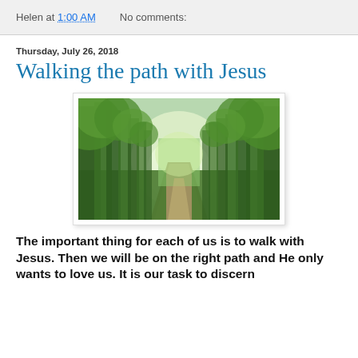Helen at 1:00 AM   No comments:
Thursday, July 26, 2018
Walking the path with Jesus
[Figure (photo): A sunlit tree-lined path through a green forest, with trees forming a canopy overhead and a dirt path leading into the distance.]
The important thing for each of us is to walk with Jesus. Then we will be on the right path and He only wants to love us. It is our task to discern